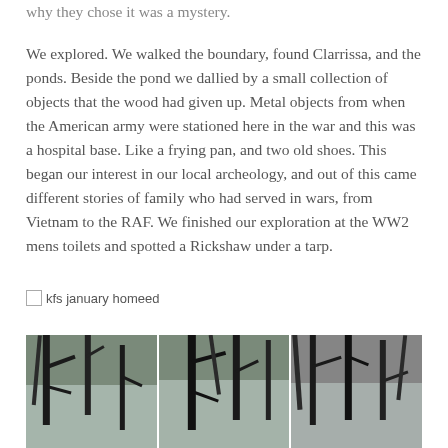why they chose it was a mystery.
We explored. We walked the boundary, found Clarrissa, and the ponds. Beside the pond we dallied by a small collection of objects that the wood had given up. Metal objects from when the American army were stationed here in the war and this was a hospital base. Like a frying pan, and two old shoes. This began our interest in our local archeology, and out of this came different stories of family who had served in wars, from Vietnam to the RAF. We finished our exploration at the WW2 mens toilets and spotted a Rickshaw under a tarp.
[Figure (photo): Image placeholder labeled 'kfs january homeed']
[Figure (photo): Three-panel photo strip showing bare winter trees with dark branches against a light sky, taken in a woodland setting.]